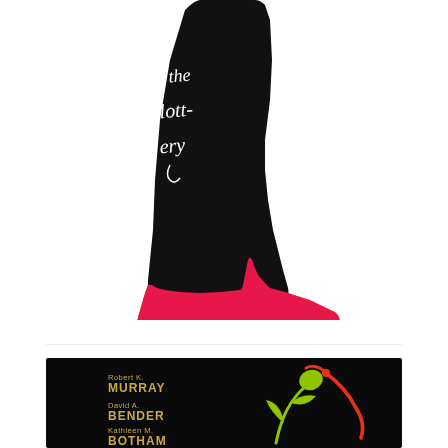[Figure (illustration): Book cover illustration of 'Lia's Guide to Winning the Lottery' showing a black stocking-covered leg with cursive text and a red high-heel shoe]
Lia's Guide to Winning the Lottery pdf
[Figure (illustration): Dark book cover with authors Robert K. Murray, David A. Bender, Kathleen M. Botham listed on left side in gold text, with colorful plant/bow illustration on right against black background]